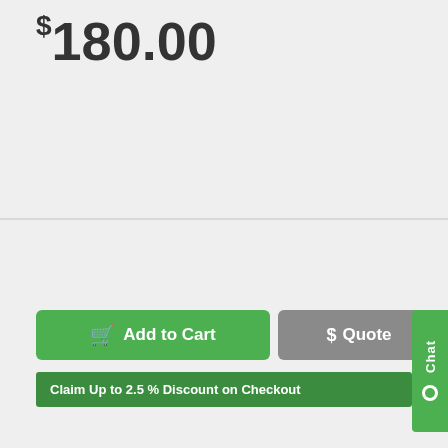$180.00
Add to Cart
Quote
Claim Up to 2.5 % Discount on Checkout
Chat
[Figure (photo): PCIe riser card / expansion board, green PCB with white PCI slots and capacitors visible]